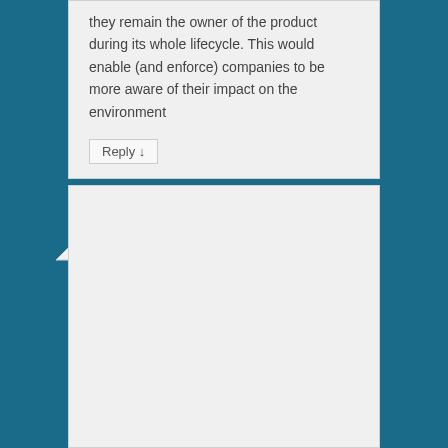they remain the owner of the product during its whole lifecycle. This would enable (and enforce) companies to be more aware of their impact on the environment
Reply ↓